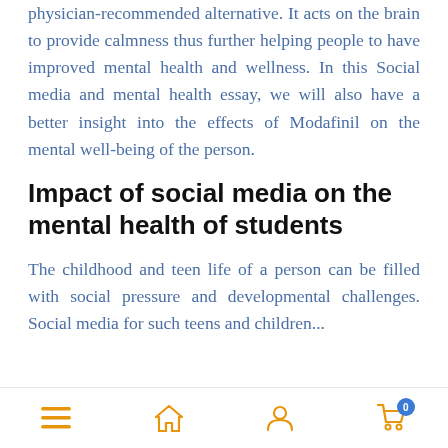physician-recommended alternative. It acts on the brain to provide calmness thus further helping people to have improved mental health and wellness. In this Social media and mental health essay, we will also have a better insight into the effects of Modafinil on the mental well-being of the person.
Impact of social media on the mental health of students
The childhood and teen life of a person can be filled with social pressure and developmental challenges. Social media for such teens and children...
Navigation bar with menu, home, user, and cart icons